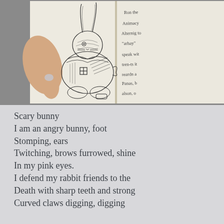[Figure (photo): A photograph of an open notebook being held by a hand with silver nail polish. The left page shows a detailed ink drawing of a stylized rabbit/bunny with intricate patterns including scales, crosshatching, and geometric designs. The right page shows handwritten text in cursive that is partially visible.]
Scary bunny
I am an angry bunny, foot
Stomping, ears
Twitching, brows furrowed, shine
In my pink eyes.
I defend my rabbit friends to the
Death with sharp teeth and strong
Curved claws digging, digging